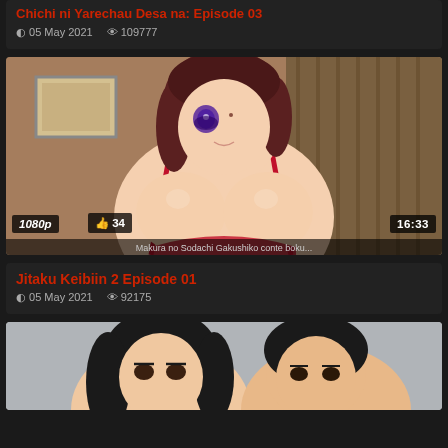Chichi ni Yarechau Desa na: Episode 03
05 May 2021  109777
[Figure (illustration): Anime thumbnail showing a character with brown hair and purple eyes, wearing a black strap top. Overlaid badges: 1080p, thumbs-up 34, duration 16:33]
Jitaku Keibiin 2 Episode 01
05 May 2021  92175
[Figure (illustration): Anime thumbnail (partially visible) showing two characters with black hair, cropped at bottom of page]